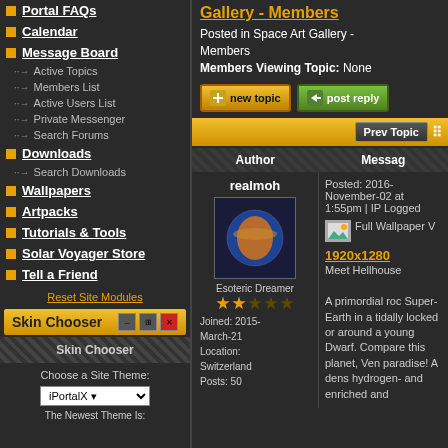Portal FAQs
Calendar
Message Board
→ Active Topics
→ Members List
→ Active Users List
→ Private Messenger
→ Search Forums
Downloads
→ Search Downloads
Wallpapers
Artpacks
Tutorials & Tools
Solar Voyager Store
Tell a Friend
Reset Site Modules
Skin Chooser
Skin Chooser
Choose a Site Theme:
iPortalX
The Newest Theme Is:
Gallery - Members
Posted in Space Art Gallery - Members
Members Viewing Topic: None
[Figure (screenshot): new topic button]
[Figure (screenshot): post reply button]
| Author | Message |
| --- | --- |
| realmoh
Esoteric Dreamer
Joined: 2015-March-21
Location: Switzerland
Posts: 50 | Posted: 2016-November-02 at 1:55pm | IP Logged
Full Wallpaper V
1920x1280
Meet Hellhouse
A primordial roc Super-Earth in a tidally locked or around a young Dwarf. Compare this planet, Ven paradise! A dens hydrogen- and enriched and |